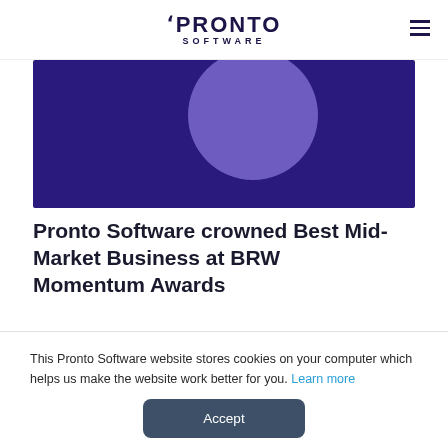PRONTO SOFTWARE
[Figure (illustration): Dark purple banner image with a lighter purple half-circle shape in the center on a deep navy/purple background]
Pronto Software crowned Best Mid-Market Business at BRW Momentum Awards
This Pronto Software website stores cookies on your computer which helps us make the website work better for you. Learn more
Accept